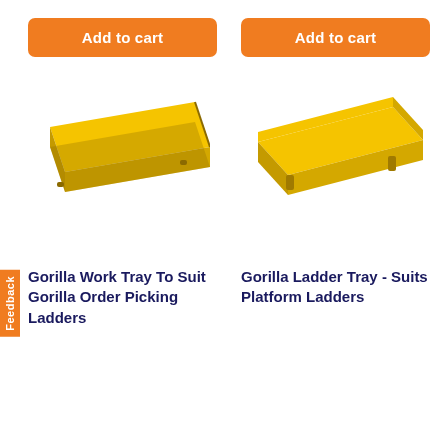[Figure (illustration): Orange 'Add to cart' button for product 1]
[Figure (illustration): Orange 'Add to cart' button for product 2]
[Figure (photo): Yellow Gorilla Work Tray product photo - flat yellow metal tray with angled front, suitable for order picking ladders]
[Figure (photo): Yellow Gorilla Ladder Tray product photo - flat yellow metal tray tilted at angle, suitable for platform ladders]
Gorilla Work Tray To Suit Gorilla Order Picking Ladders
Gorilla Ladder Tray - Suits Platform Ladders